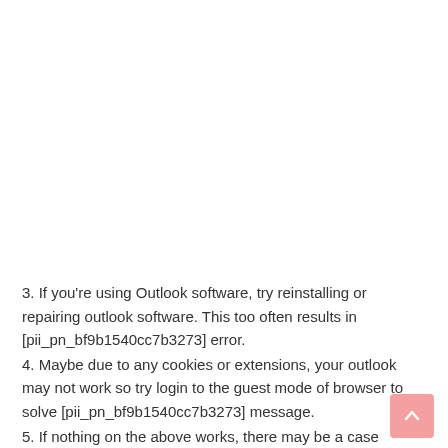3. If you're using Outlook software, try reinstalling or repairing outlook software. This too often results in [pii_pn_bf9b1540cc7b3273] error.
4. Maybe due to any cookies or extensions, your outlook may not work so try login to the guest mode of browser to solve [pii_pn_bf9b1540cc7b3273] message.
5. If nothing on the above works, there may be a case